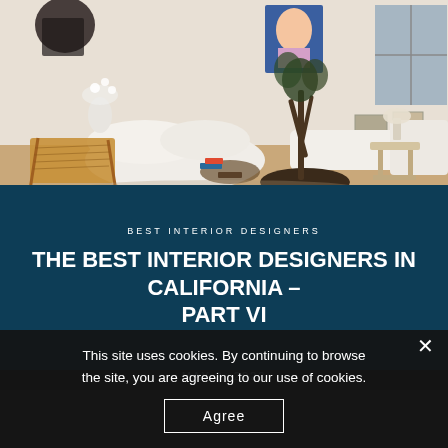[Figure (photo): Interior design photo showing a bright, airy living room with cream curved sofas, a rattan lounge chair, a large potted tree in a dark bowl, side tables, and colorful artwork on the wall.]
BEST INTERIOR DESIGNERS
THE BEST INTERIOR DESIGNERS IN CALIFORNIA – PART VI
MAY 2, 2022
This site uses cookies. By continuing to browse the site, you are agreeing to our use of cookies.
Agree